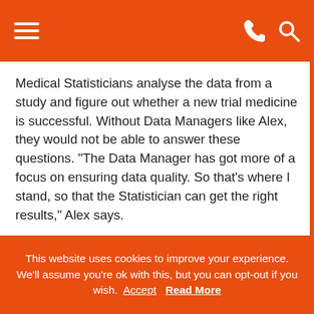[hamburger menu icon] [phone icon] [search icon]
Medical Statisticians analyse the data from a study and figure out whether a new trial medicine is successful. Without Data Managers like Alex, they would not be able to answer these questions. “The Data Manager has got more of a focus on ensuring data quality. So that’s where I stand, so that the Statistician can get the right results,” Alex says.
Alex studied biology and epidemiology at university, but Data Managers come from several backgrounds. Not all are scientists. They all have some experience working in clinical trials, perhaps as Research Assistants who gain experience and
This website uses cookies to improve your experience. We’ll assume you’re ok with this, but you can opt-out if you wish. Accept Read More